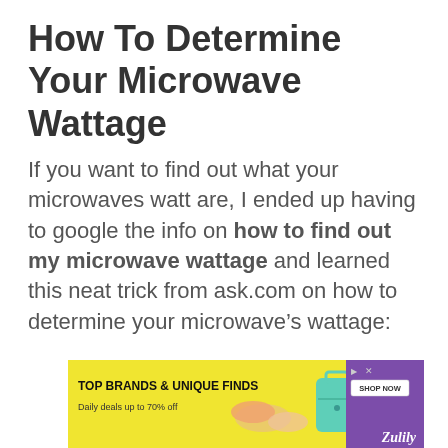How To Determine Your Microwave Wattage
If you want to find out what your microwaves watt are, I ended up having to google the info on how to find out my microwave wattage and learned this neat trick from ask.com on how to determine your microwave’s wattage:
[Figure (other): Advertisement banner: yellow background with text 'TOP BRANDS & UNIQUE FINDS' and 'Daily deals up to 70% off', images of shoes and a handbag, a 'SHOP NOW' button, and the Zulily logo on a purple panel on the right.]